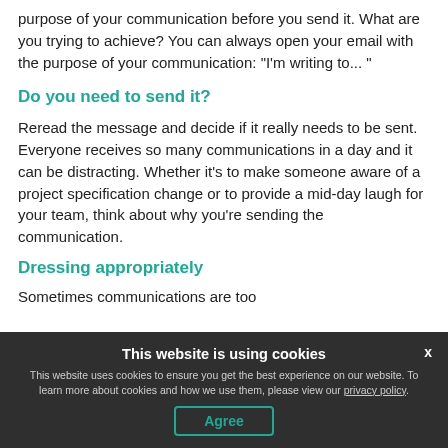purpose of your communication before you send it. What are you trying to achieve? You can always open your email with the purpose of your communication: "I'm writing to... "
Do you need to send it?
Reread the message and decide if it really needs to be sent. Everyone receives so many communications in a day and it can be distracting. Whether it's to make someone aware of a project specification change or to provide a mid-day laugh for your team, think about why you're sending the communication.
Dressing appropriately
Sometimes communications are too
This website is using cookies
This website uses cookies to ensure you get the best experience on our website. To learn more about cookies and how we use them, please view our privacy policy.
Agree